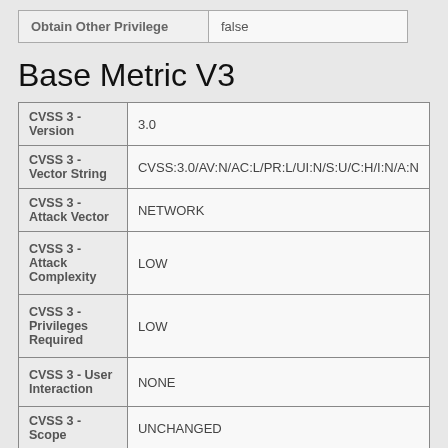| Obtain Other Privilege | false |
Base Metric V3
| CVSS 3 - Version | 3.0 |
| CVSS 3 - Vector String | CVSS:3.0/AV:N/AC:L/PR:L/UI:N/S:U/C:H/I:N/A:N |
| CVSS 3 - Attack Vector | NETWORK |
| CVSS 3 - Attack Complexity | LOW |
| CVSS 3 - Privileges Required | LOW |
| CVSS 3 - User Interaction | NONE |
| CVSS 3 - Scope | UNCHANGED |
| CVSS 3 - Confidentiality Impact | HIGH |